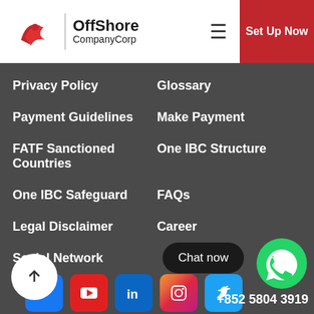[Figure (logo): OffShore CompanyCorp logo with red wing icon, company name in text, and a red 'Set Up Now' button in the header]
Privacy Policy
Glossary
Payment Guidelines
Make Payment
FATF Sanctioned Countries
One IBC Structure
One IBC Safeguard
FAQs
Legal Disclaimer
Career
Social Network
[Figure (infographic): Social media icons: Facebook, YouTube, LinkedIn, Instagram, Twitter]
Call Us:
Hong Kong:
+852 5804 3919